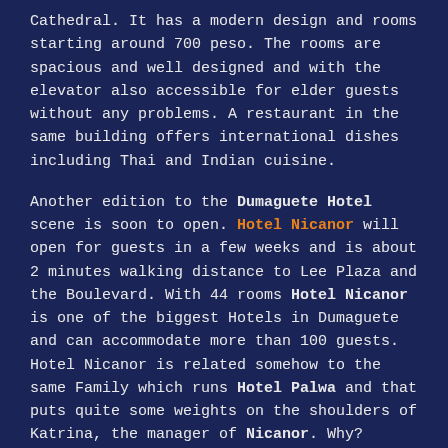Cathedral. It has a modern design and rooms starting around 700 peso. The rooms are spacious and well designed and with the elevator also accessible for elder guests without any problems. A restaurant in the same building offers international dishes including Thai and Indian cuisine.
Another edition to the Dumaguete Hotel scene is soon to open. Hotel Nicanor will open for guests in a few weeks and is about 2 minutes walking distance to Lee Plaza and the Boulevard. With 44 rooms Hotel Nicanor is one of the biggest Hotels in Dumaguete and can accommodate more than 100 guests. Hotel Nicanor is related somehow to the same Family which runs Hotel Palwa and that puts quite some weights on the shoulders of Katrina, the manager of Nicanor. Why?
Hotel Palwa is top of my "favorite-hotel-list" in Dumaguete because of the friendly staff and the lovely Frontdeskangels. Some of Nicanor's future FD-staff is at the moment in training there and I must admit the staff-